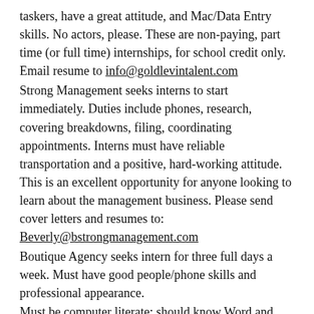taskers, have a great attitude, and Mac/Data Entry skills. No actors, please. These are non-paying, part time (or full time) internships, for school credit only. Email resume to info@goldlevintalent.com
Strong Management seeks interns to start immediately. Duties include phones, research, covering breakdowns, filing, coordinating appointments. Interns must have reliable transportation and a positive, hard-working attitude. This is an excellent opportunity for anyone looking to learn about the management business. Please send cover letters and resumes to: Beverly@bstrongmanagement.com
Boutique Agency seeks intern for three full days a week. Must have good people/phone skills and professional appearance.
Must be computer literate; should know Word and Excel. Should have office experience.  We are a Mac based company. Must have a positive attitude, and good work